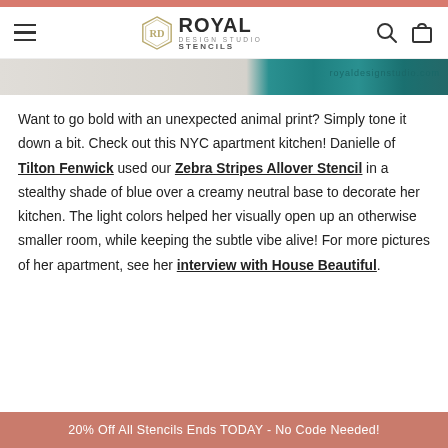ROYAL DESIGN STUDIO STENCILS
[Figure (photo): A partial image strip showing a stencil design with teal/turquoise pattern on the right side and a watermark royaldesignstudio.com]
Want to go bold with an unexpected animal print? Simply tone it down a bit. Check out this NYC apartment kitchen! Danielle of Tilton Fenwick used our Zebra Stripes Allover Stencil in a stealthy shade of blue over a creamy neutral base to decorate her kitchen. The light colors helped her visually open up an otherwise smaller room, while keeping the subtle vibe alive! For more pictures of her apartment, see her interview with House Beautiful.
20% Off All Stencils Ends TODAY - No Code Needed!